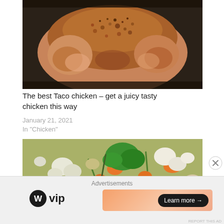[Figure (photo): A whole raw chicken seasoned with spices in a dark roasting pan, viewed from above, showing spice rub on the skin.]
The best Taco chicken – get a juicy tasty chicken this way
January 21, 2021
In "Chicken"
[Figure (photo): A bowl of colorful chicken vegetable soup with carrots, cauliflower, green peppers, and other vegetables in broth.]
Advertisements
[Figure (logo): WordPress VIP logo with circular W icon and 'vip' text in bold.]
[Figure (other): Learn more button with arrow on an orange/peach gradient background banner ad.]